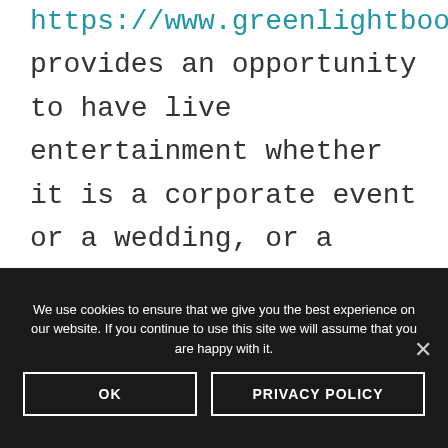https://www.greenlightbooking.com/, provides an opportunity to have live entertainment whether it is a corporate event or a wedding, or a private party. This just goes to show that any kind of event can be used as an opportunity to have a live band so that the energy is uplifted. The guests will feel more positivity and you will be able to note that
We use cookies to ensure that we give you the best experience on our website. If you continue to use this site we will assume that you are happy with it.